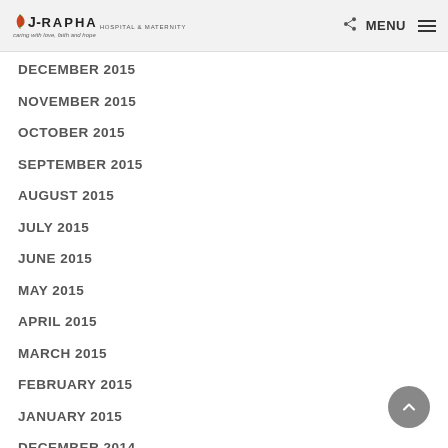J-Rapha Hospital & Maternity - MENU
DECEMBER 2015
NOVEMBER 2015
OCTOBER 2015
SEPTEMBER 2015
AUGUST 2015
JULY 2015
JUNE 2015
MAY 2015
APRIL 2015
MARCH 2015
FEBRUARY 2015
JANUARY 2015
DECEMBER 2014
NOVEMBER 2014
OCTOBER 2014
SEPTEMBER 2014